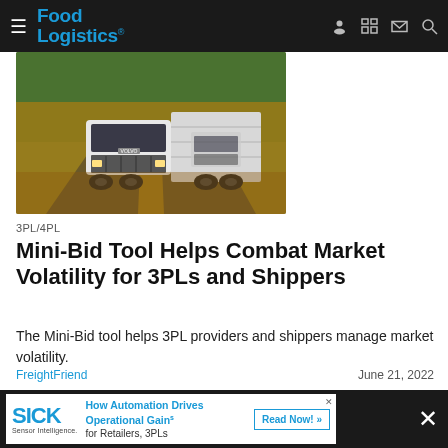Food Logistics
[Figure (photo): White semi-trucks driving on a highway road with trees and golden-hour lighting in the background]
3PL/4PL
Mini-Bid Tool Helps Combat Market Volatility for 3PLs and Shippers
The Mini-Bid tool helps 3PL providers and shippers manage market volatility.
FreightFriend   June 21, 2022
[Figure (other): SICK Sensor Intelligence advertisement: How Automation Drives Operational Gains for Retailers, 3PLs. Read Now button.]